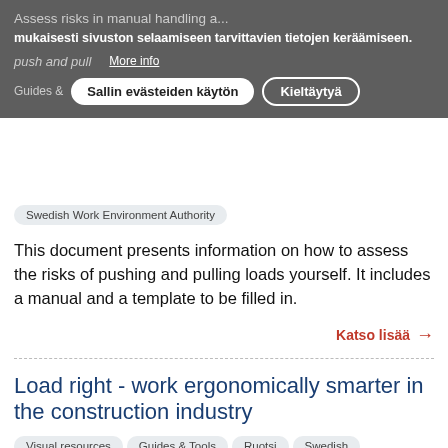Assess risks in manual handling - push and pull | More info
mukaisesti sivuston selaamiseen tarvittavien tietojen keräämiseen.
Guides & | Sallin evästeiden käytön | Kieltäytyä
Swedish Work Environment Authority
This document presents information on how to assess the risks of pushing and pulling loads yourself. It includes a manual and a template to be filled in.
Katso lisää →
Load right - work ergonomically smarter in the construction industry
Visual resources | Guides & Tools | Ruotsi | Swedish
Swedish Work Environment Authority